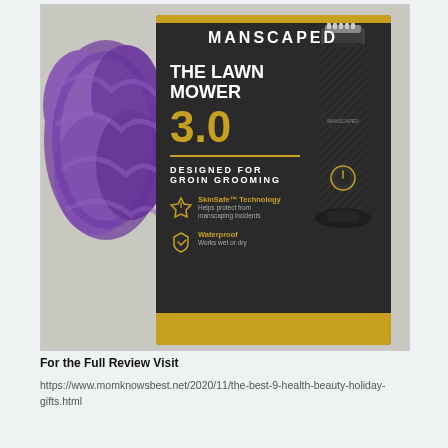[Figure (photo): Photo of Manscaped The Lawn Mower 3.0 product box next to a purple loofah bath scrubber on a light textured background. The box is dark with gold accents, showing the trimmer device and text: MANSCAPED, THE LAWN MOWER 3.0, DESIGNED FOR GROIN GROOMING, SkinSafe Technology, Waterproof.]
For the Full Review Visit
https://www.momknowsbest.net/2020/11/the-best-9-health-beauty-holiday-gifts.html